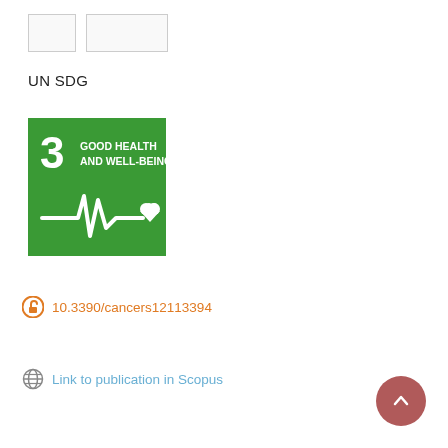[Figure (other): Two small placeholder/thumbnail boxes in the top left corner]
UN SDG
[Figure (logo): UN SDG Goal 3 badge: green square with white text '3 GOOD HEALTH AND WELL-BEING' and a heartbeat/ECG line with heart icon]
10.3390/cancers12113394
Link to publication in Scopus